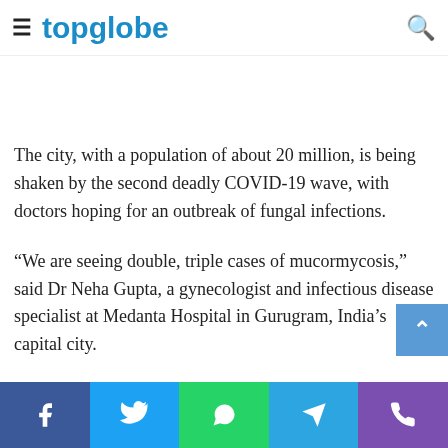topglobe
Is it spreading? ... hospital, New Delhi, Now begun performing tests on mucormycosis.
The city, with a population of about 20 million, is being shaken by the second deadly COVID-19 wave, with doctors hoping for an outbreak of fungal infections.
“We are seeing double, triple cases of mucormycosis,” said Dr Neha Gupta, a gynecologist and infectious disease specialist at Medanta Hospital in Gurugram, India’s capital city.
He said patients come with symptoms such as loose or fallen teeth, facial pain and swelling of the face